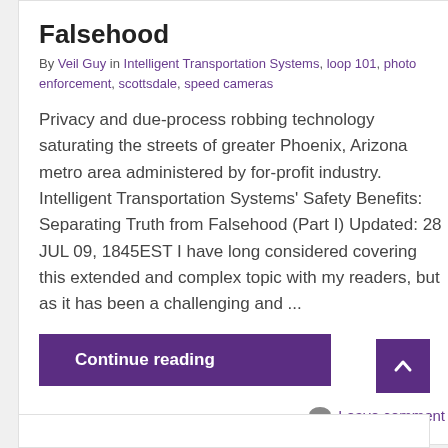Falsehood
By Veil Guy in Intelligent Transportation Systems, loop 101, photo enforcement, scottsdale, speed cameras
Privacy and due-process robbing technology saturating the streets of greater Phoenix, Arizona metro area administered by for-profit industry. Intelligent Transportation Systems' Safety Benefits: Separating Truth from Falsehood (Part I) Updated: 28 JUL 09, 1845EST I have long considered covering this extended and complex topic with my readers, but as it has been a challenging and ...
Continue reading
Leave comment